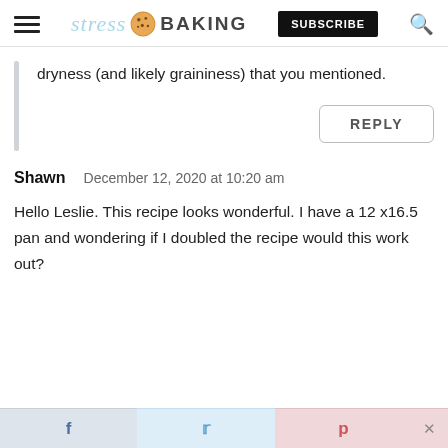[Figure (logo): Stress Baking website logo with hamburger menu, cookie icon logo text, Subscribe button, and search icon]
dryness (and likely graininess) that you mentioned.
REPLY
Shawn   December 12, 2020 at 10:20 am
Hello Leslie. This recipe looks wonderful. I have a 12 x16.5 pan and wondering if I doubled the recipe would this work out?
[Figure (other): Social sharing bar with Facebook, Twitter, Pinterest icons and a close button]